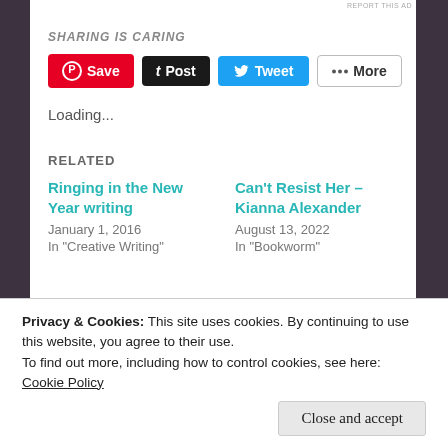SHARING IS CARING
[Figure (infographic): Social share buttons: Save (Pinterest), Post (Tumblr), Tweet (Twitter), More]
Loading...
RELATED
Ringing in the New Year writing
January 1, 2016
In "Creative Writing"
Can't Resist Her – Kianna Alexander
August 13, 2022
In "Bookworm"
Privacy & Cookies: This site uses cookies. By continuing to use this website, you agree to their use.
To find out more, including how to control cookies, see here: Cookie Policy